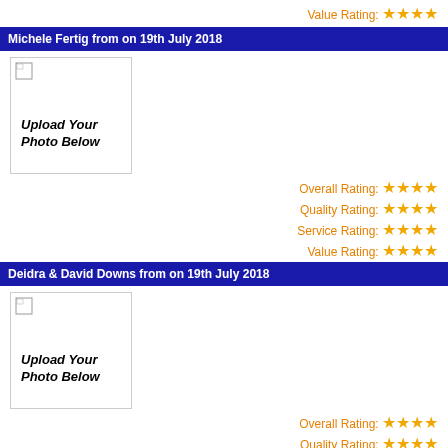Value Rating: ★★★★
Michele Fertig from on 19th July 2018
[Figure (photo): Upload Your Photo Below placeholder image box]
Overall Rating: ★★★★
Quality Rating: ★★★★
Service Rating: ★★★★
Value Rating: ★★★★
Deidra & David Downs from on 19th July 2018
[Figure (photo): Upload Your Photo Below placeholder image box]
Overall Rating: ★★★★
Quality Rating: ★★★★
Service Rating: ★★★★
Value Rating: ★★